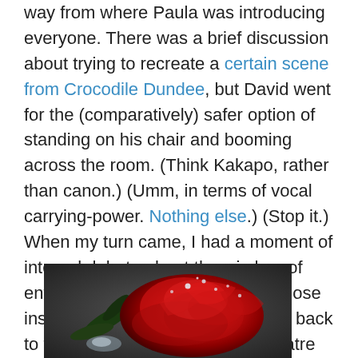way from where Paula was introducing everyone. There was a brief discussion about trying to recreate a certain scene from Crocodile Dundee, but David went for the (comparatively) safer option of standing on his chair and booming across the room. (Think Kakapo, rather than canon.) (Umm, in terms of vocal carrying-power. Nothing else.) (Stop it.) When my turn came, I had a moment of internal debate about the wisdom of entrusting myself to wicker, and chose instead to stand on tip-toe with my back to the window, and rely on my theatre training to get the words across. The audience laughed in the right spots, so that counts as a win.
[Figure (photo): A close-up photo of a red rose with water droplets on the petals, with dark green leaves visible on the left side, against a dark grey background.]